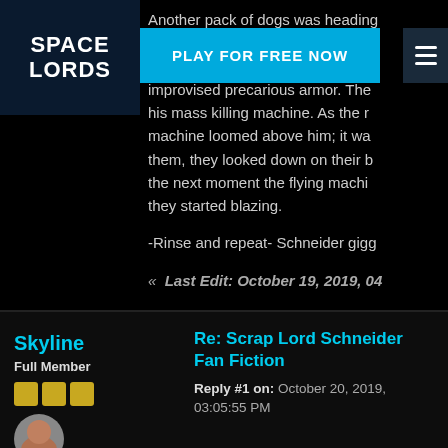[Figure (logo): Space Lords game logo, white text on dark blue background]
[Figure (other): Play for free now advertisement banner in cyan/blue]
Another pack of dogs was heading out... attention until clearly spotted him... improvised precarious armor. The... his mass killing machine. As the r... machine loomed above him; it wa... them, they looked down on their b... the next moment the flying machi... they started blazing.
-Rinse and repeat- Schneider gigg...
« Last Edit: October 19, 2019, 04...
Skyline
Full Member
Re: Scrap Lord Schneider Fan Fiction
Reply #1 on: October 20, 2019, 03:05:55 PM